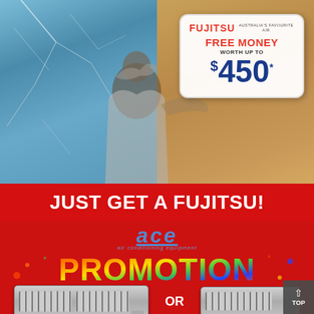[Figure (photo): Fujitsu advertisement showing a man sitting between two contrasting environments: an icy frozen background on the left and a hot desert cracked-earth background on the right. The man is wrapped in a blanket/sheet looking uncomfortable. In the top right corner is a white badge showing the Fujitsu logo and text: FREE MONEY WORTH UP TO $450*]
JUST GET A FUJITSU!
[Figure (illustration): ACE Air Conditioning Equipment promotion section on red background. Shows ACE logo in blue italic text with tagline 'air conditioning equipment', large colorful PROMOTION text in fire/paint splash style, two ducted air conditioning units shown side by side with OR between them, and a TOP navigation button in bottom right corner.]